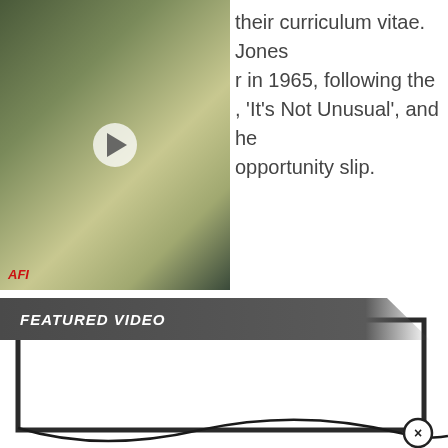[Figure (screenshot): Video thumbnail showing people on a street scene in what appears to be a vintage film, with a play button overlay and AFI label in bottom-left corner.]
their curriculum vitae. Jones r in 1965, following the , 'It's Not Unusual', and he opportunity slip.
FEATURED VIDEO
[Figure (screenshot): Empty white video player box with dark border, with a curved line and close (×) button in bottom right corner.]